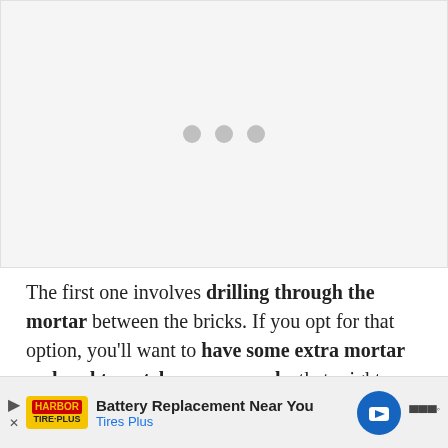[Figure (other): Loading placeholder with three grey dots on a light grey background]
The first one involves drilling through the mortar between the bricks. If you opt for that option, you'll want to have some extra mortar on hand to patch up any cracks that might form as a result. And there ar... from a s... Si...
[Figure (other): Advertisement banner: Battery Replacement Near You - Tires Plus]